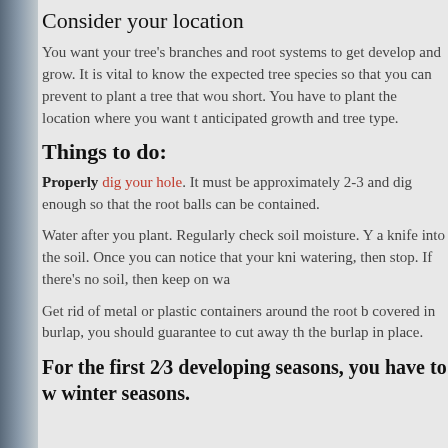Consider your location
You want your tree's branches and root systems to get develop and grow. It is vital to know the expected tree species so that you can prevent to plant a tree that wou short. You have to plant the location where you want t anticipated growth and tree type.
Things to do:
Properly dig your hole. It must be approximately 2-3 and dig enough so that the root balls can be contained.
Water after you plant. Regularly check soil moisture. Y a knife into the soil. Once you can notice that your kni watering, then stop. If there's no soil, then keep on wa
Get rid of metal or plastic containers around the root b covered in burlap, you should guarantee to cut away th the burlap in place.
For the first 2/3 developing seasons, you have to w winter seasons.